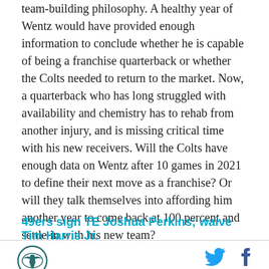Wentz's injury presents a worrisome trap for Ballard's team-building philosophy. A healthy year of Wentz would have provided enough information to conclude whether he is capable of being a franchise quarterback or whether the Colts needed to return to the market. Now, a quarterback who has long struggled with availability and chemistry has to rehab from another injury, and is missing critical time with his new receivers. Will the Colts have enough data on Wentz after 10 games in 2021 to define their next move as a franchise? Or will they talk themselves into affording him another year to come back at 100 percent and settle in with his new team?
49ers sign TE Joshua Perkins; waive Tim Harris Jr.